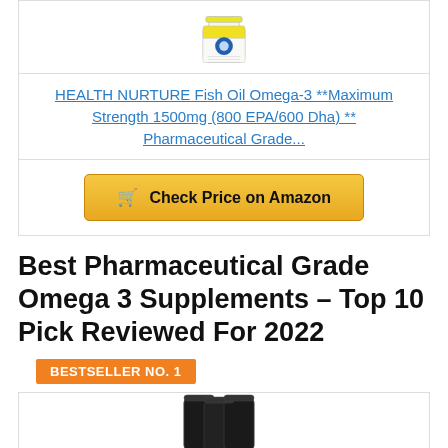[Figure (photo): White cylindrical supplement bottle with yellow and blue label (Health Nurture Fish Oil), partially cropped at top]
HEALTH NURTURE Fish Oil Omega-3 **Maximum Strength 1500mg (800 EPA/600 Dha) ** Pharmaceutical Grade...
Check Price on Amazon
Best Pharmaceutical Grade Omega 3 Supplements – Top 10 Pick Reviewed For 2022
BESTSELLER NO. 1
[Figure (photo): Dark supplement bottle (partially visible at bottom of page)]